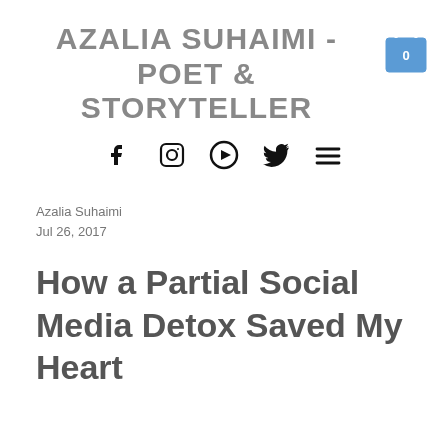AZALIA SUHAIMI - POET & STORYTELLER
[Figure (infographic): Social media navigation icons: Facebook, Instagram, YouTube, Twitter, and hamburger menu]
Azalia Suhaimi
Jul 26, 2017
How a Partial Social Media Detox Saved My Heart